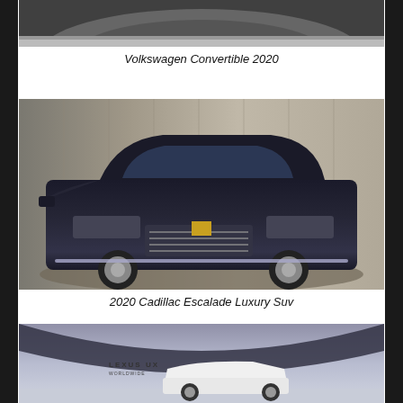[Figure (photo): Volkswagen Convertible 2020 - partial view of a dark colored convertible car from above/front angle]
Volkswagen Convertible 2020
[Figure (photo): 2020 Cadillac Escalade Luxury SUV - dark navy/black large SUV parked in front of a wooden wall background]
2020 Cadillac Escalade Luxury Suv
[Figure (photo): Lexus UX Worldwide vehicle shown in a studio setting with curved dark ceiling element, white SUV in foreground]